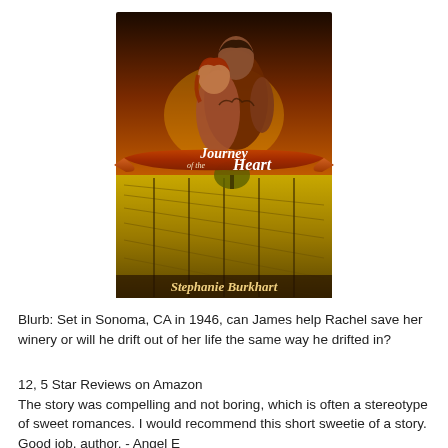[Figure (illustration): Book cover for 'Journey of the Heart' by Stephanie Burkhart. Shows a romantic couple (muscular man and red-haired woman) embracing against a dramatic sunset sky over a vineyard. A decorative ribbon banner displays the title in script font. Author name appears at the bottom in script font.]
Blurb: Set in Sonoma, CA in 1946, can James help Rachel save her winery or will he drift out of her life the same way he drifted in?
12, 5 Star Reviews on Amazon
The story was compelling and not boring, which is often a stereotype of sweet romances. I would recommend this short sweetie of a story. Good job, author. - Angel E